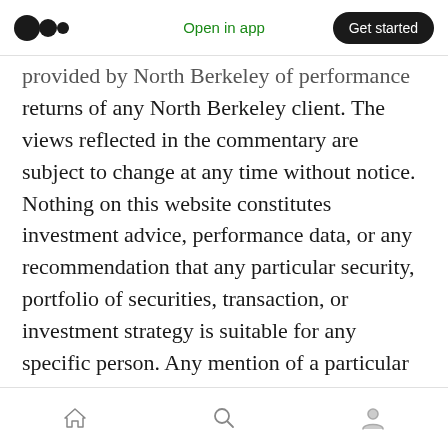Open in app | Get started
provided by North Berkeley of performance returns of any North Berkeley client. The views reflected in the commentary are subject to change at any time without notice. Nothing on this website constitutes investment advice, performance data, or any recommendation that any particular security, portfolio of securities, transaction, or investment strategy is suitable for any specific person. Any mention of a particular security and related performance data is not a recommendation to buy or sell that security. North Berkeley manages its clients' accounts using a variety of investment
[home] [search] [profile]